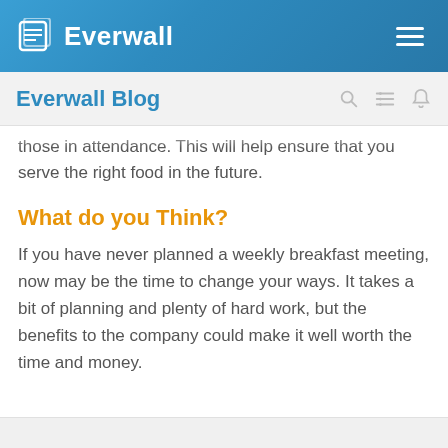Everwall
Everwall Blog
those in attendance. This will help ensure that you serve the right food in the future.
What do you Think?
If you have never planned a weekly breakfast meeting, now may be the time to change your ways. It takes a bit of planning and plenty of hard work, but the benefits to the company could make it well worth the time and money.